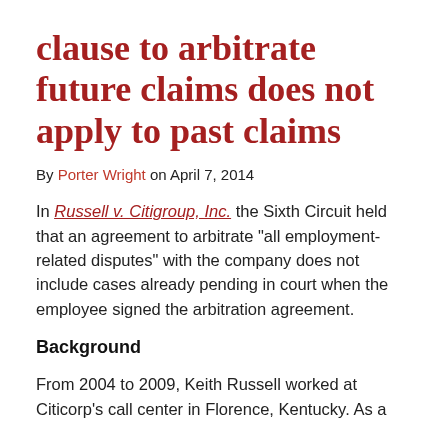clause to arbitrate future claims does not apply to past claims
By Porter Wright on April 7, 2014
In Russell v. Citigroup, Inc. the Sixth Circuit held that an agreement to arbitrate “all employment-related disputes” with the company does not include cases already pending in court when the employee signed the arbitration agreement.
Background
From 2004 to 2009, Keith Russell worked at Citicorp’s call center in Florence, Kentucky. As a